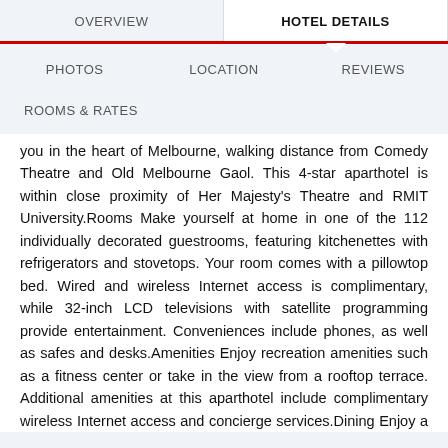OVERVIEW | HOTEL DETAILS | PHOTOS | LOCATION | REVIEWS | ROOMS & RATES
you in the heart of Melbourne, walking distance from Comedy Theatre and Old Melbourne Gaol. This 4-star aparthotel is within close proximity of Her Majesty's Theatre and RMIT University.Rooms Make yourself at home in one of the 112 individually decorated guestrooms, featuring kitchenettes with refrigerators and stovetops. Your room comes with a pillowtop bed. Wired and wireless Internet access is complimentary, while 32-inch LCD televisions with satellite programming provide entertainment. Conveniences include phones, as well as safes and desks.Amenities Enjoy recreation amenities such as a fitness center or take in the view from a rooftop terrace. Additional amenities at this aparthotel include complimentary wireless Internet access and concierge services.Dining Enjoy a bite to eat at a coffee shop/café, or stay in and take advantage of the aparthotel's room service (during limited hours).Business, Other Amenities Featured amenities include complimentary high-speed (wired) Internet access, a 24-hour business center